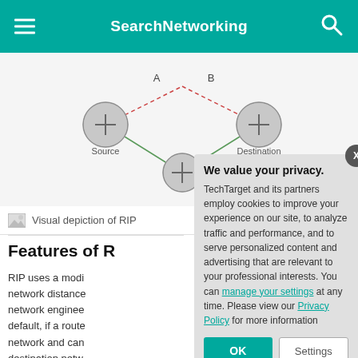SearchNetworking
[Figure (network-graph): Visual depiction of RIP routing: Source node on the left connected by solid green lines to a central node at the bottom, and by dashed red lines via nodes A (top-center) and B (top-right) to a Destination node on the right. Labels A and B mark the top path nodes.]
Visual depiction of RIP
Features of R[IP]
RIP uses a modi[fied Bellman-Ford algorithm as a] network distance[. As a result,] network enginee[rs can configure] default, if a route[r detects a change in the] network and can[...] destination netw[ork, it advertises that the] that route has on[e hop. In RIP] terminology, this[...]
We value your privacy.
TechTarget and its partners employ cookies to improve your experience on our site, to analyze traffic and performance, and to serve personalized content and advertising that are relevant to your professional interests. You can manage your settings at any time. Please view our Privacy Policy for more information